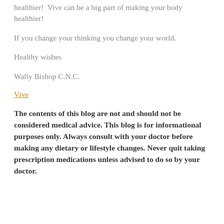healthier!  Vive can be a big part of making your body healthier!
If you change your thinking you change your world.
Healthy wishes
Wally Bishop C.N.C.
Vive
The contents of this blog are not and should not be considered medical advice. This blog is for informational purposes only. Always consult with your doctor before making any dietary or lifestyle changes. Never quit taking prescription medications unless advised to do so by your doctor.